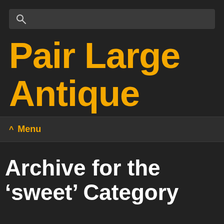[Figure (screenshot): Search bar with magnifying glass icon on dark grey background]
Pair Large Antique
^ Menu
Archive for the ‘sweet’ Category